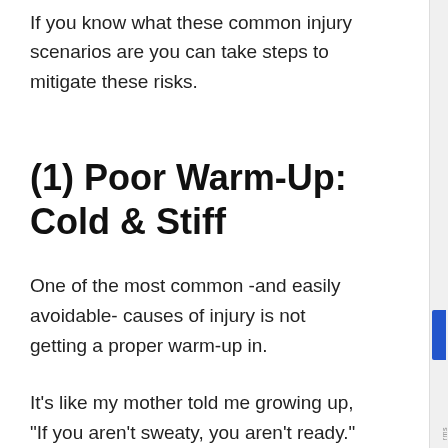If you know what these common injury scenarios are you can take steps to mitigate these risks.
(1) Poor Warm-Up: Cold & Stiff
One of the most common -and easily avoidable- causes of injury is not getting a proper warm-up in.
It’s like my mother told me growing up, “If you aren’t sweaty, you aren’t ready.”